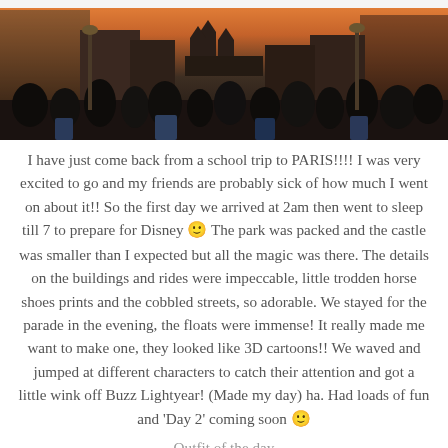[Figure (photo): Crowd of people on a busy theme park street at dusk, with warm orange sky and castle visible in the background. Disneyland Paris crowd scene.]
I have just come back from a school trip to PARIS!!!! I was very excited to go and my friends are probably sick of how much I went on about it!! So the first day we arrived at 2am then went to sleep till 7 to prepare for Disney 🙂 The park was packed and the castle was smaller than I expected but all the magic was there. The details on the buildings and rides were impeccable, little trodden horse shoes prints and the cobbled streets, so adorable. We stayed for the parade in the evening, the floats were immense! It really made me want to make one, they looked like 3D cartoons!! We waved and jumped at different characters to catch their attention and got a little wink off Buzz Lightyear! (Made my day) ha. Had loads of fun and 'Day 2' coming soon 🙂
Outfit of the day
Hat – River Island